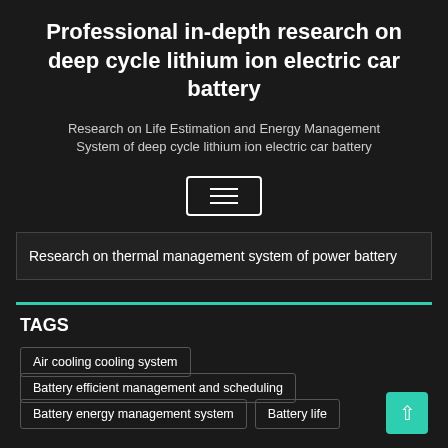Professional in-depth research on deep cycle lithium ion electric car battery
Research on Life Estimation and Energy Management System of deep cycle lithium ion electric car battery
[Figure (other): Hamburger menu button icon with three horizontal lines inside a rounded rectangle border]
Research on thermal management system of power battery
TAGS
Air cooling cooling system
Battery efficient management and scheduling
Battery energy management system
Battery life